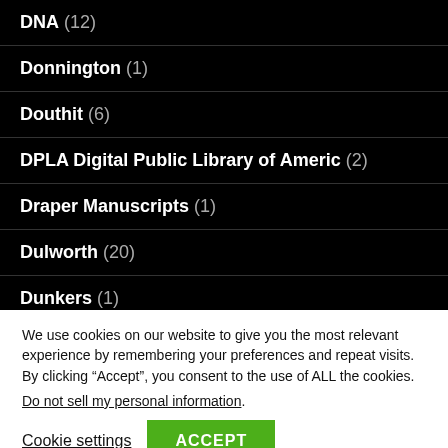DNA (12)
Donnington (1)
Douthit (6)
DPLA Digital Public Library of Americ (2)
Draper Manuscripts (1)
Dulworth (20)
Dunkers (1)
We use cookies on our website to give you the most relevant experience by remembering your preferences and repeat visits. By clicking “Accept”, you consent to the use of ALL the cookies.
Do not sell my personal information.
Cookie settings   ACCEPT